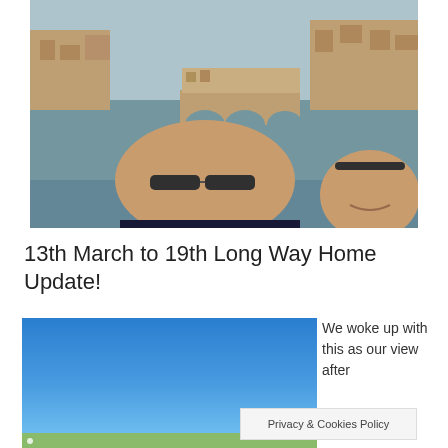[Figure (photo): Selfie photo of a man (wearing sunglasses) and a woman in front of the Ponte Vecchio bridge over the Arno river in Florence, Italy. Buildings and the bridge visible in background.]
13th March to 19th Long Way Home Update!
[Figure (photo): Photo showing a bright blue sky, partially visible, appears to be an outdoor scenic view.]
We woke up with this as our view after
Privacy & Cookies Policy